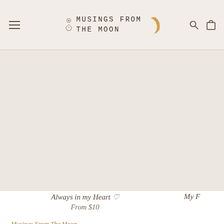Musings From The Moon
[Figure (screenshot): Product listing showing 'Always in my Heart' item with heart icon, priced From $10, and partial view of 'My F...' product on the right]
Always in my Heart ♡
From $10
My F
Musings From The Moon
Things that remind you to breathe...